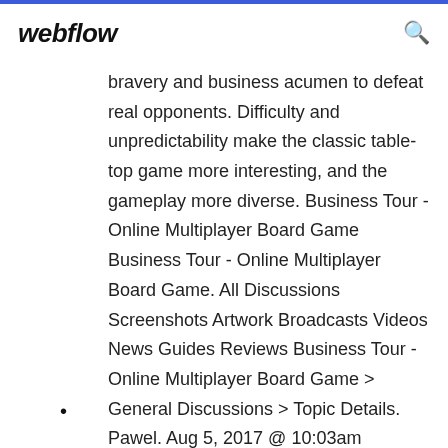webflow
bravery and business acumen to defeat real opponents. Difficulty and unpredictability make the classic table-top game more interesting, and the gameplay more diverse. Business Tour - Online Multiplayer Board Game Business Tour - Online Multiplayer Board Game. All Discussions Screenshots Artwork Broadcasts Videos News Guides Reviews Business Tour - Online Multiplayer Board Game > General Discussions > Topic Details. Pawel. Aug 5, 2017 @ 10:03am Business Tour - 2x2 Match #001 | [PC] Gameplay ...
•